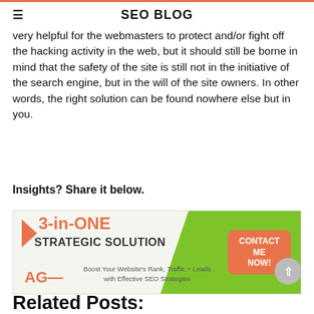SEO BLOG
very helpful for the webmasters to protect and/or fight off the hacking activity in the web, but it should still be borne in mind that the safety of the site is still not in the initiative of the search engine, but in the will of the site owners. In other words, the right solution can be found nowhere else but in you.
Insights? Share it below.
[Figure (infographic): Advertisement banner for '3-in-ONE STRATEGIC SOLUTION' by AG. Orange and green color scheme. Text: Boost Your Website's Rank, Traffic + Leads with Effective SEO Strategies. Orange 'CONTACT ME NOW!' button.]
Related Posts: